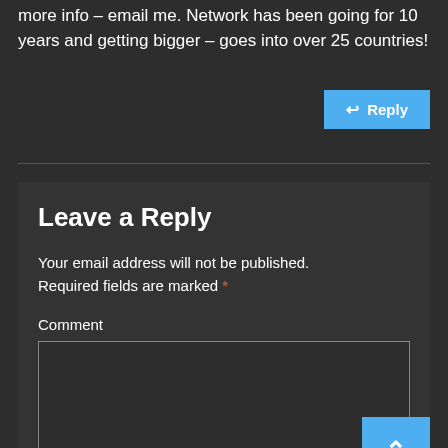more info – email me. Network has been going for 10 years and getting bigger – goes into over 25 countries!
Reply
Leave a Reply
Your email address will not be published. Required fields are marked *
Comment